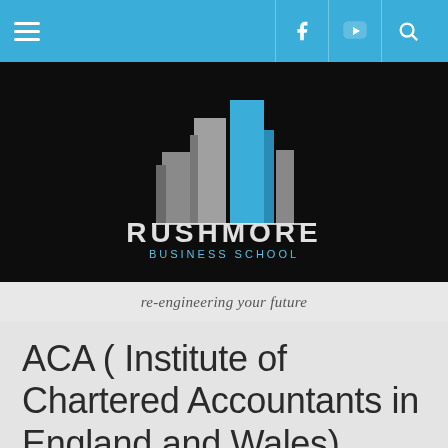Navigation bar with hamburger menu, Facebook, YouTube, and Search icons
[Figure (logo): Rushmore Business School logo: stylized blue and grey skyscraper buildings above the text 'RUSHMORE BUSINESS SCHOOL' in white/cyan on a black background]
re-engineering your future
ACA ( Institute of Chartered Accountants in England and Wales)